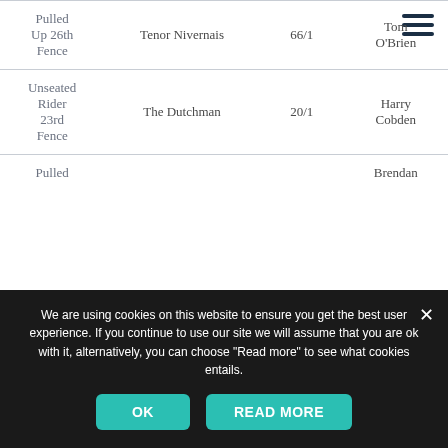| Result | Horse | Odds | Jockey |
| --- | --- | --- | --- |
| Pulled Up 26th Fence | Tenor Nivernais | 66/1 | Tom O'Brien |
| Unseated Rider 23rd Fence | The Dutchman | 20/1 | Harry Cobden |
| Pulled |  |  | Brendan |
We are using cookies on this website to ensure you get the best user experience. If you continue to use our site we will assume that you are ok with it, alternatively, you can choose "Read more" to see what cookies entails.